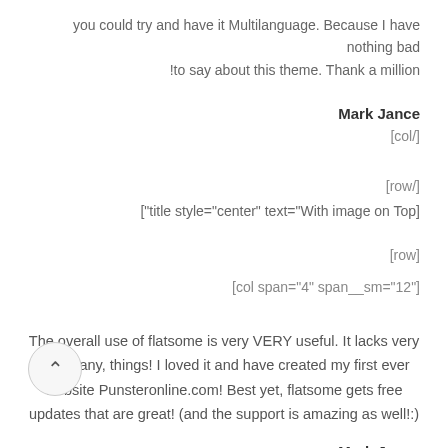you could try and have it Multilanguage. Because I have nothing bad !to say about this theme. Thank a million
Mark Jance
[col/]
[row/]
["title style="center" text="With image on Top]
[row]
[col span="4" span__sm="12"]
The overall use of flatsome is very VERY useful. It lacks very few, if any, things! I loved it and have created my first ever website Punsteronline.com! Best yet, flatsome gets free updates that are great! (and the support is amazing as well!:)
Mark Jance
[col/]